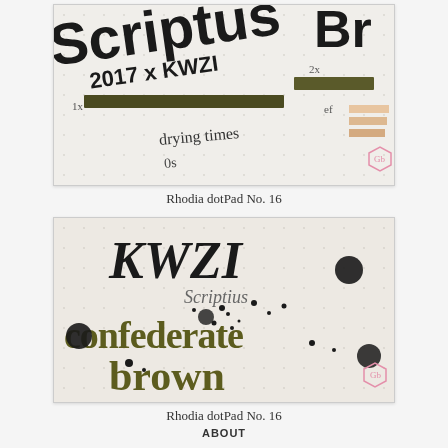[Figure (photo): Close-up photo of dotted paper showing ink writing: 'Scriptus 2017 x KWZI' in large letters, with ink swatches and handwritten notes including 'drying times', '1x', '2x', 'ef'. A pink hexagon logo with 'Gb' is visible in the bottom-right corner.]
Rhodia dotPad No. 16
[Figure (photo): Close-up photo showing calligraphic lettering on dotted paper. Text reads 'KWZI Scriptius confederate brown' in dark olive/brown gothic calligraphy style with ink splatters. A pink hexagon logo with 'Gb' is visible in the bottom-right corner.]
Rhodia dotPad No. 16
ABOUT